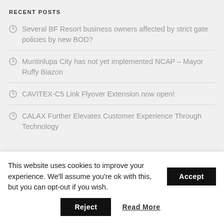RECENT POSTS
Several BF Resort business owners affected by strict gate policies by new BOD?
Muntinlupa City has not yet implemented NCAP – Mayor Ruffy Biazon
CAVITEX-C5 Link Flyover Extension now open!
CALAX Further Elevates Customer Experience Through Technology
This website uses cookies to improve your experience. We'll assume you're ok with this, but you can opt-out if you wish.
Accept
Reject
Read More